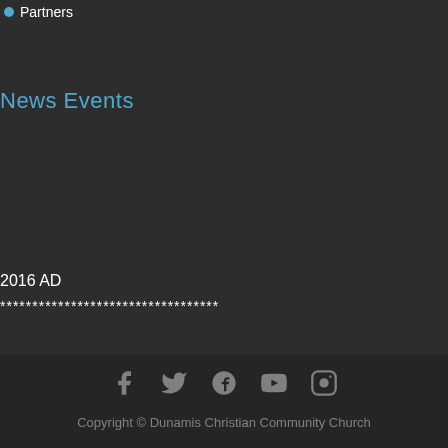Partners
News Events
2016 AD
**********************************
f  t  G+  ▶  📷  Copyright © Dunamis Christian Community Church